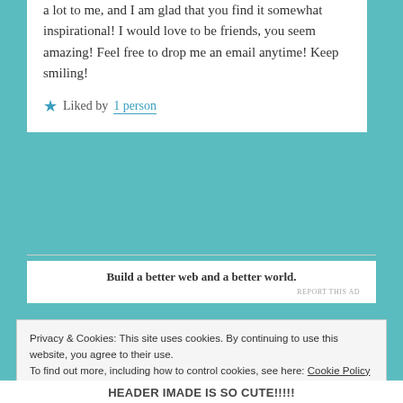a lot to me, and I am glad that you find it somewhat inspirational! I would love to be friends, you seem amazing! Feel free to drop me an email anytime! Keep smiling!
★ Liked by 1 person
Build a better web and a better world.
REPORT THIS AD
Privacy & Cookies: This site uses cookies. By continuing to use this website, you agree to their use.
To find out more, including how to control cookies, see here: Cookie Policy
Close and accept
HEADER IMADE IS SO CUTE!!!!!